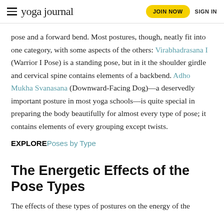yoga journal | JOIN NOW | SIGN IN
pose and a forward bend. Most postures, though, neatly fit into one category, with some aspects of the others: Virabhadrasana I (Warrior I Pose) is a standing pose, but in it the shoulder girdle and cervical spine contains elements of a backbend. Adho Mukha Svanasana (Downward-Facing Dog)—a deservedly important posture in most yoga schools—is quite special in preparing the body beautifully for almost every type of pose; it contains elements of every grouping except twists.
EXPLORE Poses by Type
The Energetic Effects of the Pose Types
The effects of these types of postures on the energy of the